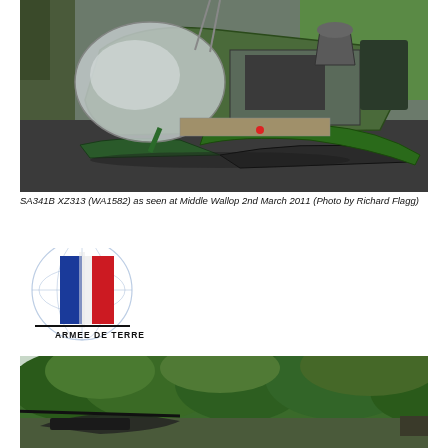[Figure (photo): Damaged/disassembled helicopter fuselage (SA341B XZ313) sitting on a tarmac at Middle Wallop, showing the exposed interior, bubble canopy, skids, and olive-green paintwork.]
SA341B XZ313 (WA1582) as seen at Middle Wallop 2nd March 2011 (Photo by Richard Flagg)
[Figure (logo): Armee de Terre (French Army) logo: globe outline with a vertical blue-white-red tricolor panel (French flag colors) and the text ARMEE DE TERRE below.]
[Figure (photo): Partial photo of a helicopter on the ground with dense green tree foliage in the background.]